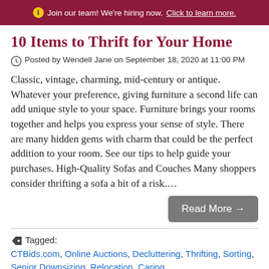Join our team! We're hiring now. Click to learn more.
10 Items to Thrift for Your Home
Posted by Wendell Jane on September 18, 2020 at 11:00 PM
Classic, vintage, charming, mid-century or antique. Whatever your preference, giving furniture a second life can add unique style to your space. Furniture brings your rooms together and helps you express your sense of style. There are many hidden gems with charm that could be the perfect addition to your room. See our tips to help guide your purchases. High-Quality Sofas and Couches Many shoppers consider thrifting a sofa a bit of a risk....
Read More →
Tagged: CTBids.com, Online Auctions, Decluttering, Thrifting, Sorting, Senior Downsizing, Relocation, Caring